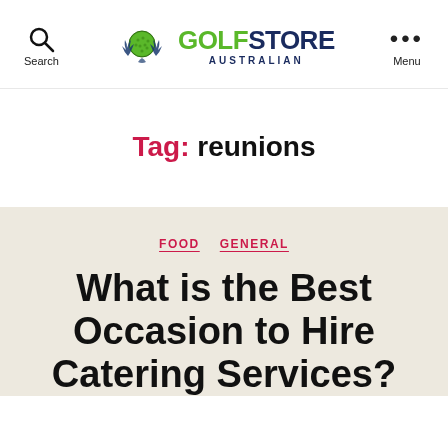Search | GOLF STORE AUSTRALIAN | Menu
Tag: reunions
FOOD  GENERAL
What is the Best Occasion to Hire Catering Services?